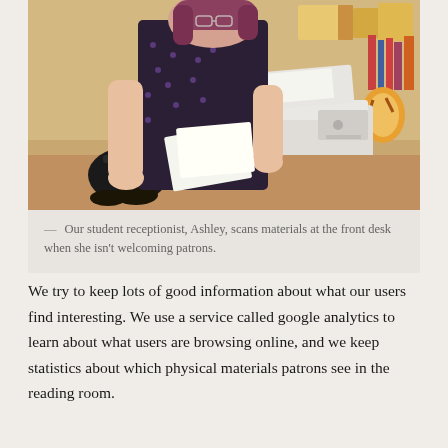[Figure (photo): A student receptionist named Ashley stands at a front desk scanning materials with a large HP multifunction printer/scanner. She is wearing a dark purple patterned dress and has long hair. The desk area has cardboard boxes, papers, and office supplies in the background.]
— Our student receptionist, Ashley, scans materials at the front desk when she isn't welcoming patrons.
We try to keep lots of good information about what our users find interesting. We use a service called google analytics to learn about what users are browsing online, and we keep statistics about which physical materials patrons see in the reading room.